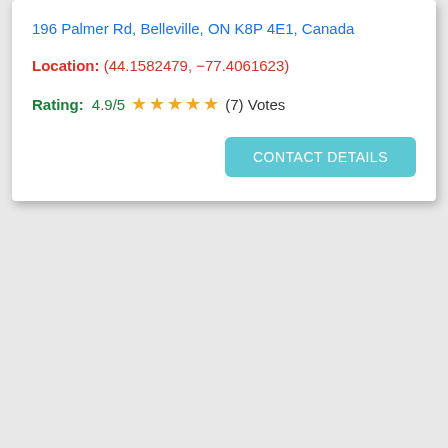196 Palmer Rd, Belleville, ON K8P 4E1, Canada
Location: (44.1582479, -77.4061623)
Rating: 4.9/5 ★★★★★ (7) Votes
CONTACT DETAILS